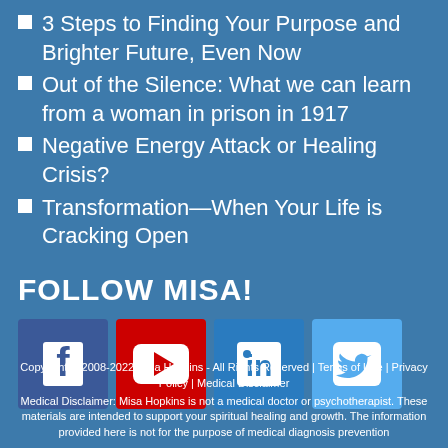3 Steps to Finding Your Purpose and Brighter Future, Even Now
Out of the Silence: What we can learn from a woman in prison in 1917
Negative Energy Attack or Healing Crisis?
Transformation—When Your Life is Cracking Open
FOLLOW MISA!
[Figure (infographic): Social media icons: Facebook (blue), YouTube (red), LinkedIn (blue), Twitter (light blue)]
Copyright © 2008-2022 Misa Hopkins - All Rights Reserved | Terms of Use | Privacy Policy | Medical Disclaimer
Medical Disclaimer: Misa Hopkins is not a medical doctor or psychotherapist. These materials are intended to support your spiritual healing and growth. The information provided here is not for the purpose of medical diagnosis prevention